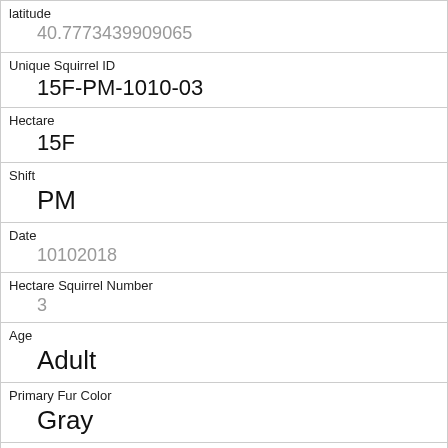| latitude | 40.7773439909065 |
| Unique Squirrel ID | 15F-PM-1010-03 |
| Hectare | 15F |
| Shift | PM |
| Date | 10102018 |
| Hectare Squirrel Number | 3 |
| Age | Adult |
| Primary Fur Color | Gray |
| Highlight Fur Color |  |
| Combination of Primary and Highlight Color | Gray+ |
| Color notes |  |